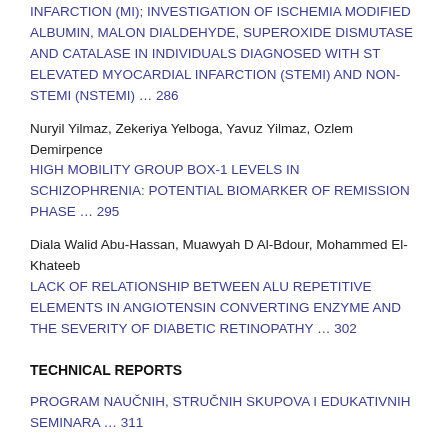INFARCTION (MI); INVESTIGATION OF ISCHEMIA MODIFIED ALBUMIN, MALON DIALDEHYDE, SUPEROXIDE DISMUTASE AND CATALASE IN INDIVIDUALS DIAGNOSED WITH ST ELEVATED MYOCARDIAL INFARCTION (STEMI) AND NON-STEMI (NSTEMI) … 286
Nuryil Yilmaz, Zekeriya Yelboga, Yavuz Yilmaz, Ozlem Demirpence
HIGH MOBILITY GROUP BOX-1 LEVELS IN SCHIZOPHRENIA: POTENTIAL BIOMARKER OF REMISSION PHASE … 295
Diala Walid Abu-Hassan, Muawyah D Al-Bdour, Mohammed El-Khateeb
LACK OF RELATIONSHIP BETWEEN ALU REPETITIVE ELEMENTS IN ANGIOTENSIN CONVERTING ENZYME AND THE SEVERITY OF DIABETIC RETINOPATHY … 302
TECHNICAL REPORTS
PROGRAM NAUČNIH, STRUČNIH SKUPOVA I EDUKATIVNIH SEMINARA … 311